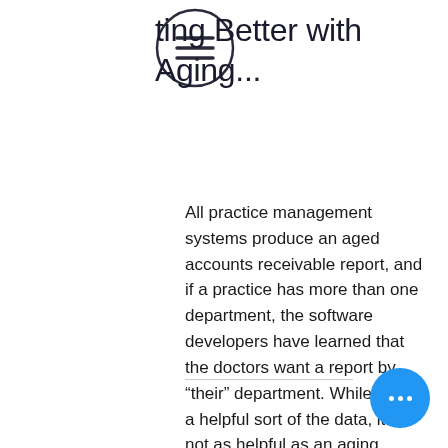ting Better with Aging...
All practice management systems produce an aged accounts receivable report, and if a practice has more than one department, the software developers have learned that the doctors want a report by “their” department. While that is a helpful sort of the data, it is not as helpful as an aging report that is sorted by payer. Many effective revenue cycle teams are organized with individuals assigned to follow up on unpaid claims from specific payers. At one time or another all paye